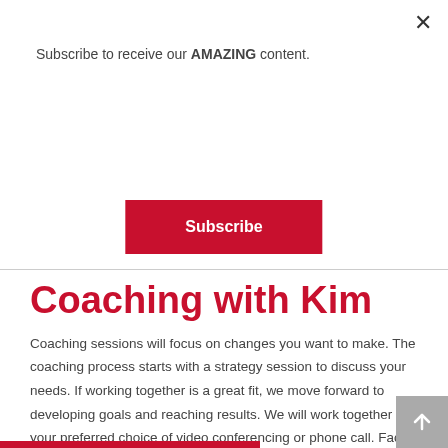Subscribe to receive our AMAZING content.
Subscribe
Coaching with Kim
Coaching sessions will focus on changes you want to make. The coaching process starts with a strategy session to discuss your needs. If working together is a great fit, we move forward to developing goals and reaching results. We will work together via your preferred choice of video conferencing or phone call. Face-to-face sessions are available with special pricing and upon request.